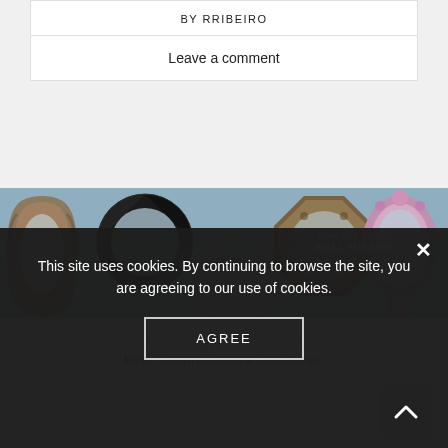BY RRIBEIRO
Leave a comment
[Figure (photo): Advertisement banner showing multiple decorative wall mirrors on a blue-gray background with text 'FIND THE PERFECT WALL MIRROR GET YOUR NOW >']
PREVIOUS
Maison et Objet from 2016: A celebration of...
This site uses cookies. By continuing to browse the site, you are agreeing to our use of cookies.
AGREE